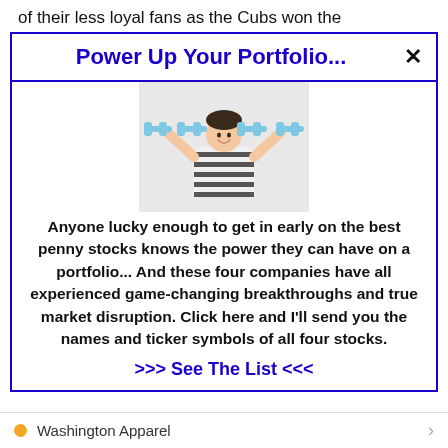of their less loyal fans as the Cubs won the
Power Up Your Portfolio...
[Figure (illustration): Child holding dumbbells above head with illustrated barbell graphics]
Anyone lucky enough to get in early on the best penny stocks knows the power they can have on a portfolio... And these four companies have all experienced game-changing breakthroughs and true market disruption. Click here and I'll send you the names and ticker symbols of all four stocks.
>>> See The List <<<
Washington Apparel